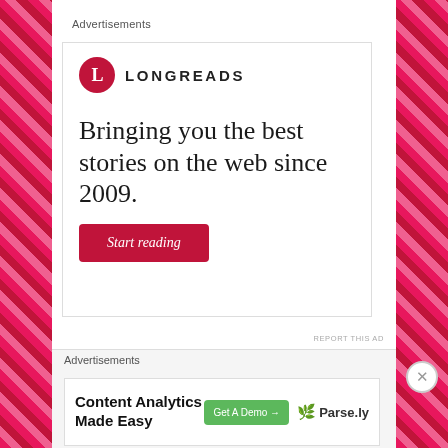Advertisements
[Figure (logo): Longreads advertisement banner: logo with red circle containing letter L and wordmark LONGREADS, tagline 'Bringing you the best stories on the web since 2009.' with a red 'Start reading' button]
REPORT THIS AD
1 Comment
Advertisements
[Figure (logo): Parse.ly advertisement: 'Content Analytics Made Easy' with green 'Get A Demo →' button and Parse.ly logo with leaf icon]